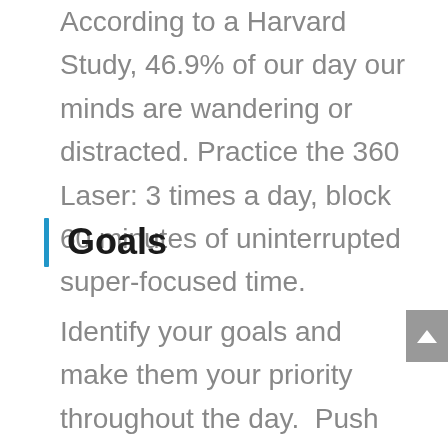According to a Harvard Study, 46.9% of our day our minds are wandering or distracted. Practice the 360 Laser: 3 times a day, block 60 minutes of uninterrupted super-focused time.
Goals
Identify your goals and make them your priority throughout the day.  Push distracting thoughts out of your head by reminding yourself what you are supposed to be doing.